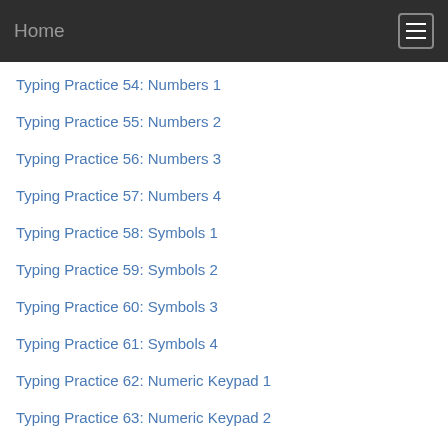Home
Typing Practice 54: Numbers 1
Typing Practice 55: Numbers 2
Typing Practice 56: Numbers 3
Typing Practice 57: Numbers 4
Typing Practice 58: Symbols 1
Typing Practice 59: Symbols 2
Typing Practice 60: Symbols 3
Typing Practice 61: Symbols 4
Typing Practice 62: Numeric Keypad 1
Typing Practice 63: Numeric Keypad 2
Typing Practice 64: Numeric Keypad 3
Typing Practice 65: Numeric Keypad 4